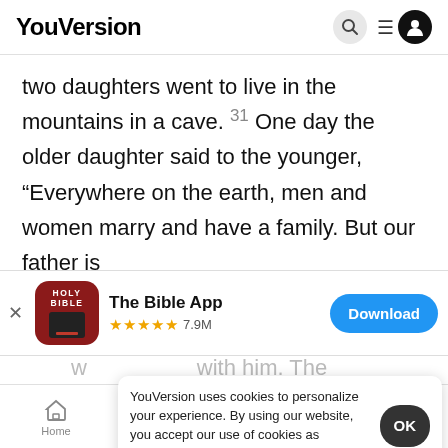YouVersion
two daughters went to live in the mountains in a cave. 31 One day the older daughter said to the younger, “Everywhere on the earth, men and women marry and have a family. But our father is
[Figure (screenshot): App store banner for The Bible App with Holy Bible icon, 5 stars, 7.9M ratings, and Download button]
YouVersion uses cookies to personalize your experience. By using our website, you accept our use of cookies as described in our Privacy Policy.
33 That night the two girls went to their father and
Home   Bible   Plans   Videos